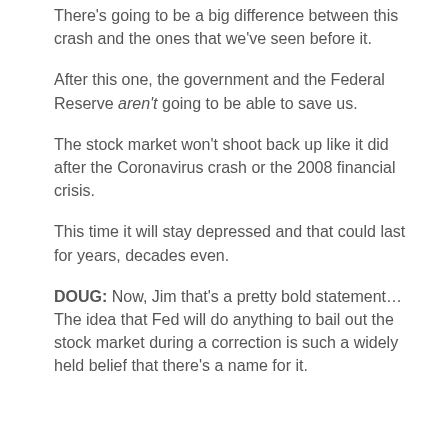There's going to be a big difference between this crash and the ones that we've seen before it.
After this one, the government and the Federal Reserve aren't going to be able to save us.
The stock market won't shoot back up like it did after the Coronavirus crash or the 2008 financial crisis.
This time it will stay depressed and that could last for years, decades even.
DOUG: Now, Jim that's a pretty bold statement…The idea that Fed will do anything to bail out the stock market during a correction is such a widely held belief that there's a name for it.